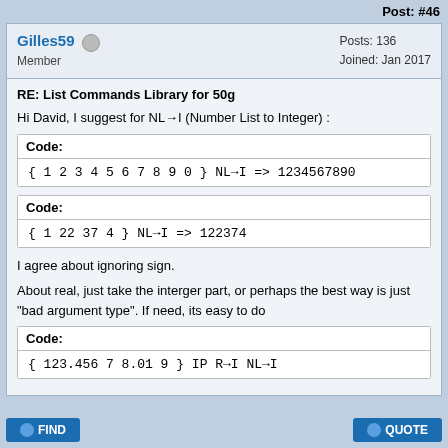Post: #46
Gilles59 Member Posts: 136 Joined: Jan 2017
RE: List Commands Library for 50g
Hi David, I suggest for NL→I (Number List to Integer) :
Code:
{ 1 2 3 4 5 6 7 8 9 0 } NL→I => 1234567890
Code:
{ 1 22 37 4 } NL→I => 122374
I agree about ignoring sign.
About real, just take the interger part, or perhaps the best way is just "bad argument type". If need, its easy to do
Code:
{ 123.456 7 8.01 9 } IP R→I NL→I
FIND  QUOTE